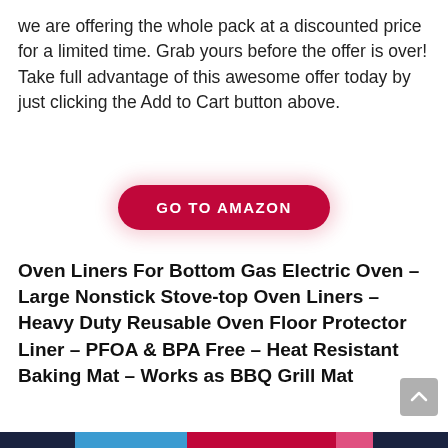we are offering the whole pack at a discounted price for a limited time. Grab yours before the offer is over! Take full advantage of this awesome offer today by just clicking the Add to Cart button above.
[Figure (other): A red pill-shaped button with white bold text reading 'GO TO AMAZON', with a pink/red glow shadow effect.]
Oven Liners For Bottom Gas Electric Oven – Large Nonstick Stove-top Oven Liners – Heavy Duty Reusable Oven Floor Protector Liner – PFOA & BPA Free – Heat Resistant Baking Mat – Works as BBQ Grill Mat
[Figure (photo): Bottom portion of a product image showing a green badge with '10%' text and a black cylindrical/tube shaped oven liner product.]